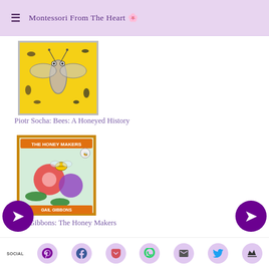Montessori From The Heart 🌸
[Figure (photo): Book cover: Bees: A Honeyed History by Piotr Socha - illustration of insects on yellow background]
Piotr Socha: Bees: A Honeyed History
[Figure (photo): Book cover: The Honey Makers by Gail Gibbons - illustration of bees and flowers]
Gail Gibbons: The Honey Makers
[Figure (photo): Book set: The Julia Rothman Collection: Farm Anatomy, Nature Anatomy and Food Anatomy - teal illustrated box set]
Julia Rothman: The Julia Rothman Collection: Farm Anatomy, Nature Anatomy and Food Anatomy